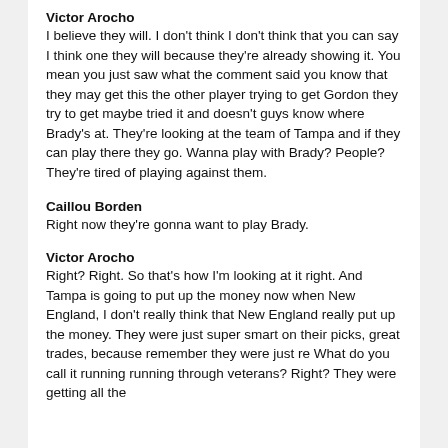Victor Arocho
I believe they will. I don't think I don't think that you can say I think one they will because they're already showing it. You mean you just saw what the comment said you know that they may get this the other player trying to get Gordon they try to get maybe tried it and doesn't guys know where Brady's at. They're looking at the team of Tampa and if they can play there they go. Wanna play with Brady? People? They're tired of playing against them.
Caillou Borden
Right now they're gonna want to play Brady.
Victor Arocho
Right? Right. So that's how I'm looking at it right. And Tampa is going to put up the money now when New England, I don't really think that New England really put up the money. They were just super smart on their picks, great trades, because remember they were just re What do you call it running running through veterans? Right? They were getting all the